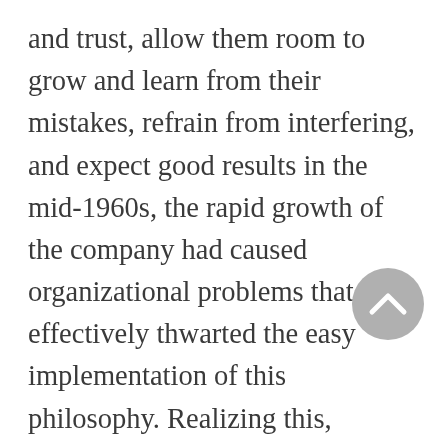and trust, allow them room to grow and learn from their mistakes, refrain from interfering, and expect good results in the long run. Yet, by the mid-1960s, the rapid growth of the company had caused organizational problems that effectively thwarted the easy implementation of this philosophy. Realizing this, Baumgardner decided to remodel his company, which now performed a variety of services, after Minnesota's largest and arguably most dynamic